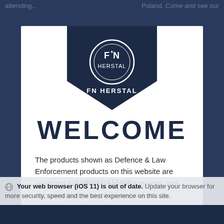[Figure (logo): FN Herstal logo — circular emblem with FNH monogram on a dark navy pentagon/shield badge with white text FN HERSTAL below]
WELCOME
The products shown as Defence & Law Enforcement products on this website are restricted for military, law enforcement, and special forces sales only, and subject to export licenses/permits.
I UNDERSTAND
Your web browser (iOS 11) is out of date. Update your browser for more security, speed and the best experience on this site.